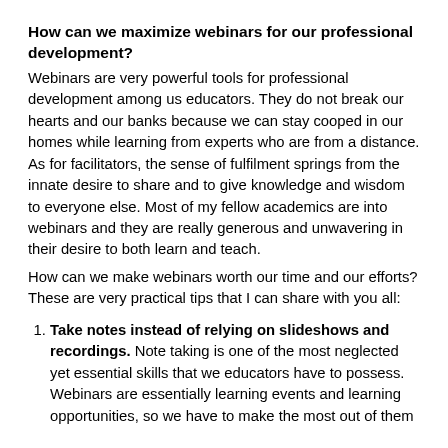How can we maximize webinars for our professional development?
Webinars are very powerful tools for professional development among us educators. They do not break our hearts and our banks because we can stay cooped in our homes while learning from experts who are from a distance. As for facilitators, the sense of fulfilment springs from the innate desire to share and to give knowledge and wisdom to everyone else. Most of my fellow academics are into webinars and they are really generous and unwavering in their desire to both learn and teach.
How can we make webinars worth our time and our efforts? These are very practical tips that I can share with you all:
Take notes instead of relying on slideshows and recordings. Note taking is one of the most neglected yet essential skills that we educators have to possess. Webinars are essentially learning events and learning opportunities, so we have to make the most out of them